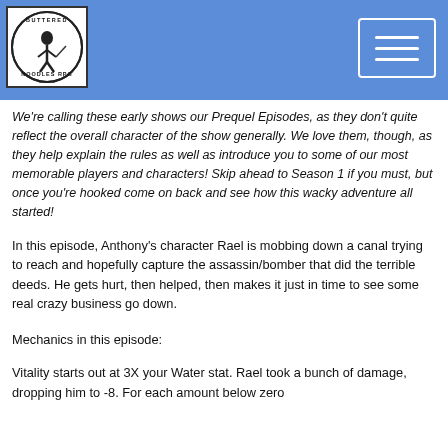[Figure (logo): Circular logo with an illustrated figure and text around the border]
[Figure (other): Menu button with three horizontal white lines on blue background]
We're calling these early shows our Prequel Episodes, as they don't quite reflect the overall character of the show generally. We love them, though, as they help explain the rules as well as introduce you to some of our most memorable players and characters! Skip ahead to Season 1 if you must, but once you're hooked come on back and see how this wacky adventure all started!
In this episode, Anthony's character Rael is mobbing down a canal trying to reach and hopefully capture the assassin/bomber that did the terrible deeds. He gets hurt, then helped, then makes it just in time to see some real crazy business go down.
Mechanics in this episode:
Vitality starts out at 3X your Water stat. Rael took a bunch of damage, dropping him to -8. For each amount below zero